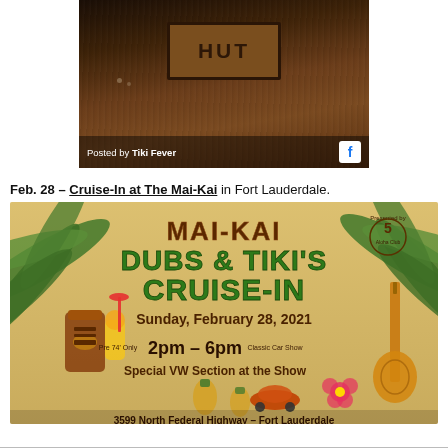[Figure (photo): Dark wooden table surface with a 'HUT' sign visible, dimly lit. Posted by Tiki Fever caption with Facebook icon overlay at bottom.]
Feb. 28 – Cruise-In at The Mai-Kai in Fort Lauderdale.
[Figure (illustration): Mai-Kai Dubs & Tiki's Cruise-In event flyer. Sunday, February 28, 2021. Pre 74' Only. 2pm – 6pm. Classic Car Show. Special VW Section at the Show. 3599 North Federal Highway – Fort Lauderdale. Presented by 5 Aloha Club.]